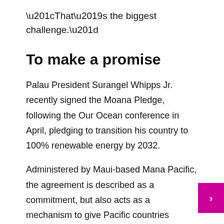“That’s the biggest challenge.”
To make a promise
Palau President Surangel Whipps Jr. recently signed the Moana Pledge, following the Our Ocean conference in April, pledging to transition his country to 100% renewable energy by 2032.
Administered by Maui-based Mana Pacific, the agreement is described as a commitment, but also acts as a mechanism to give Pacific countries greater access to renewable energy infrastructure, through collective purchasing power and sharing. resources, making countries more attractive to donors.